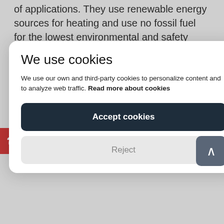of applications. They use renewable energy sources for heating and use no fossil fuel for the lowest environmental and safety impact.
Ideal for
Four-season cooling and heating needs. Heat recovery or “free heating” applications. Events and gatherings where fuel hazard is a concern.
We use cookies
We use our own and third-party cookies to personalize content and to analyze web traffic. Read more about cookies
Accept cookies
Reject